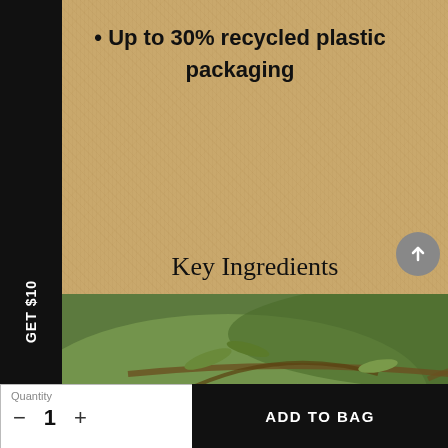• Up to 30% recycled plastic packaging
Key Ingredients
[Figure (photo): Close-up photo of green olives on an olive tree branch with leaves]
Quantity
- 1 +
ADD TO BAG